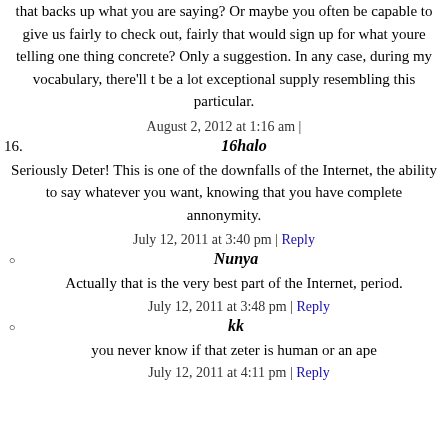that backs up what you are saying? Or maybe you often be capable to give us fairly to check out, fairly that would sign up for what youre telling one thing concrete? Only a suggestion. In any case, during my vocabulary, there'll t be a lot exceptional supply resembling this particular.
August 2, 2012 at 1:16 am |
16. 16halo
Seriously Deter! This is one of the downfalls of the Internet, the ability to say whatever you want, knowing that you have complete annonymity.
July 12, 2011 at 3:40 pm | Reply
○ Nunya
Actually that is the very best part of the Internet, period.
July 12, 2011 at 3:48 pm | Reply
○ kk
you never know if that zeter is human or an ape
July 12, 2011 at 4:11 pm | Reply